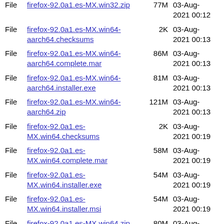| Type | Name | Size | Date |
| --- | --- | --- | --- |
| File | firefox-92.0a1.es-MX.win32.zip | 77M | 03-Aug-2021 00:12 |
| File | firefox-92.0a1.es-MX.win64-aarch64.checksums | 2K | 03-Aug-2021 00:13 |
| File | firefox-92.0a1.es-MX.win64-aarch64.complete.mar | 86M | 03-Aug-2021 00:13 |
| File | firefox-92.0a1.es-MX.win64-aarch64.installer.exe | 81M | 03-Aug-2021 00:13 |
| File | firefox-92.0a1.es-MX.win64-aarch64.zip | 121M | 03-Aug-2021 00:13 |
| File | firefox-92.0a1.es-MX.win64.checksums | 2K | 03-Aug-2021 00:19 |
| File | firefox-92.0a1.es-MX.win64.complete.mar | 58M | 03-Aug-2021 00:19 |
| File | firefox-92.0a1.es-MX.win64.installer.exe | 54M | 03-Aug-2021 00:19 |
| File | firefox-92.0a1.es-MX.win64.installer.msi | 54M | 03-Aug-2021 00:19 |
| File | firefox-92.0a1.es-MX.win64.zip | 80M | 03-Aug-2021 00:19 |
| File | firefox-92.0a1.et.linux-i686.checksums | 2K | 02-Aug-2021 23:57 |
| File | firefox-92.0a1.et.linux- | 66M | 02-Aug- |